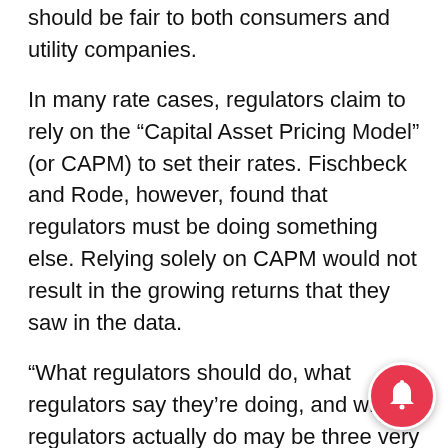should be fair to both consumers and utility companies.
In many rate cases, regulators claim to rely on the “Capital Asset Pricing Model” (or CAPM) to set their rates. Fischbeck and Rode, however, found that regulators must be doing something else. Relying solely on CAPM would not result in the growing returns that they saw in the data.
“What regulators should do, what regulators say they’re doing, and what regulators actually do may be three very different things,” Fischbeck said.
Rode said they examined potential explanations outside of traditional financial theory and used behavioral economics. What they found “showed